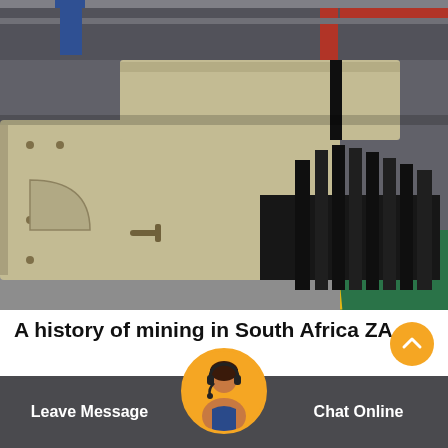[Figure (photo): Industrial mining equipment — large cream/white vibrating screen or feeder machines on a factory floor with green flooring and red ceiling cranes in background]
A history of mining in South Africa ZA
By the end of 2011 South Africa's mining industry was the largest contributor to economic transformation with broadbased black
Leave Message   Chat Online